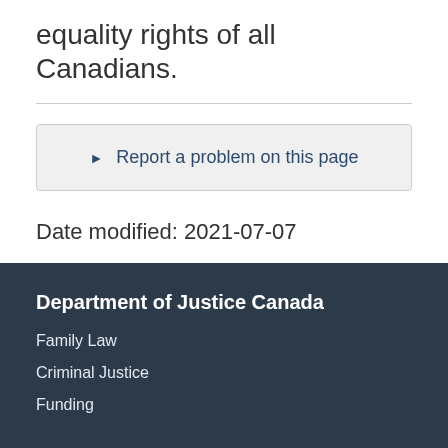equality rights of all Canadians.
▶ Report a problem on this page
Date modified: 2021-07-07
Department of Justice Canada
Family Law
Criminal Justice
Funding